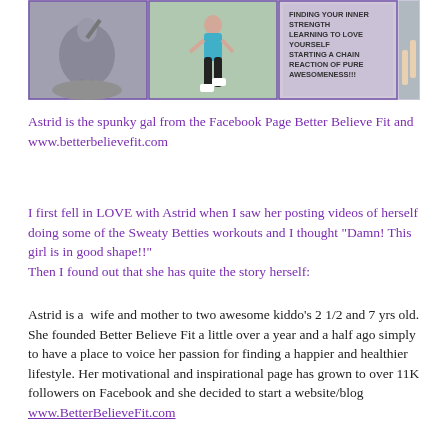[Figure (photo): Collage of fitness photos: woman posing on rock, woman running, motivational text overlay reading 'FINDING YOUR INNER STRENGTH LEARNING TO LOVE YOURSELF STARTING A CHAIN REACTION OF PURE AWESOMENESS!!!', woman jogging on road]
Astrid is the spunky gal from the Facebook Page Better Believe Fit and www.betterbelievefit.com
I first fell in LOVE with Astrid when I saw her posting videos of herself doing some of the Sweaty Betties workouts and I thought “Damn! This girl is in good shape!!”
Then I found out that she has quite the story herself:
Astrid is a  wife and mother to two awesome kiddo’s 2 1/2 and 7 yrs old. She founded Better Believe Fit a little over a year and a half ago simply to have a place to voice her passion for finding a happier and healthier lifestyle. Her motivational and inspirational page has grown to over 11K followers on Facebook and she decided to start a website/blog www.BetterBelieveFit.com